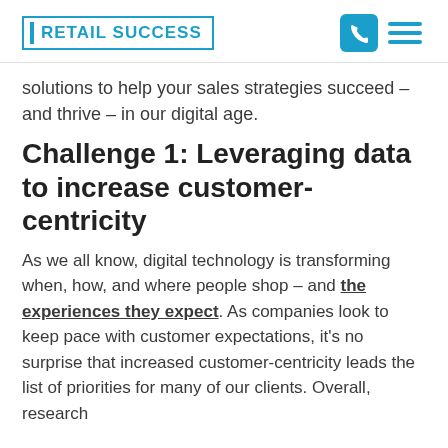RETAIL SUCCESS
solutions to help your sales strategies succeed – and thrive – in our digital age.
Challenge 1: Leveraging data to increase customer-centricity
As we all know, digital technology is transforming when, how, and where people shop – and the experiences they expect. As companies look to keep pace with customer expectations, it's no surprise that increased customer-centricity leads the list of priorities for many of our clients. Overall, research